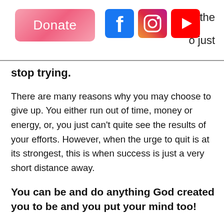Donate   [Facebook icon] [Instagram icon] [YouTube icon]   the o just
stop trying.
There are many reasons why you may choose to give up. You either run out of time, money or energy, or, you just can't quite see the results of your efforts. However, when the urge to quit is at its strongest, this is when success is just a very short distance away.
You can be and do anything God created you to be and you put your mind too!
The enemy turns up the heat and fuels your irritation with cynicism. The enemy